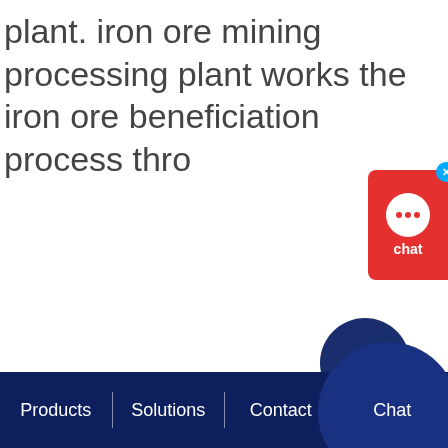plant. iron ore mining processing plant works the iron ore beneficiation process thro
[Figure (other): Red chat widget button with speech bubble icon and 'chat' label, with a blue close (x) button in the top right corner]
[Figure (other): Dark navy blue filled circle decorative element]
Products | Solutions | Contact | Chat